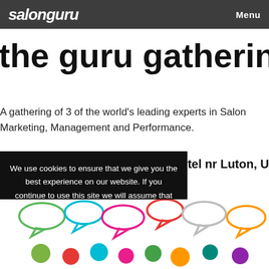salonguru  Menu
the guru gathering
A gathering of 3 of the world's leading experts in Salon Marketing, Management and Performance.
se Hotel nr Luton, UK
We use cookies to ensure that we give you the best experience on our website. If you continue to use this site we will assume that you are happy with it.
OK
PRIVACY POLICY
[Figure (illustration): Colorful cartoon speech bubbles with small round character figures below them, arranged in a group illustration]